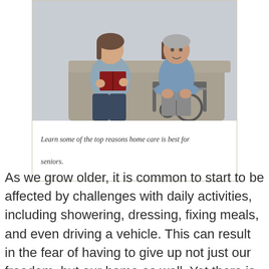[Figure (photo): A young woman reading a book to an elderly man seated in a wheelchair, both sitting on a couch indoors.]
Learn some of the top reasons home care is best for seniors.
As we grow older, it is common to start to be affected by challenges with daily activities, including showering, dressing, fixing meals, and even driving a vehicle. This can result in the fear of having to give up not just our freedom, but our home as well. Yet there is encouraging news for older individuals: home care services, like those